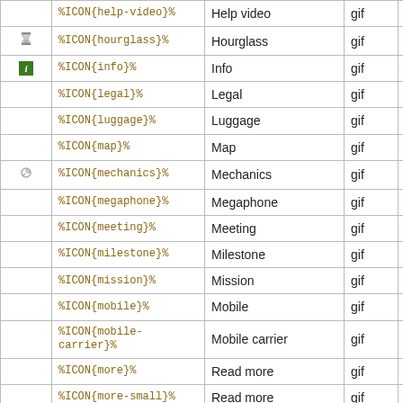| Icon | Variable | Name | Type | Size |
| --- | --- | --- | --- | --- |
| (help-video) | %ICON{help-video}% | Help video | gif | 16x16 |
| (hourglass) | %ICON{hourglass}% | Hourglass | gif | 16x16 |
| (info) | %ICON{info}% | Info | gif | 16x16 |
|  | %ICON{legal}% | Legal | gif | 16x16 |
|  | %ICON{luggage}% | Luggage | gif | 16x16 |
|  | %ICON{map}% | Map | gif | 16x16 |
| (mechanics) | %ICON{mechanics}% | Mechanics | gif | 16x16 |
|  | %ICON{megaphone}% | Megaphone | gif | 16x16 |
|  | %ICON{meeting}% | Meeting | gif | 16x16 |
|  | %ICON{milestone}% | Milestone | gif | 16x16 |
|  | %ICON{mission}% | Mission | gif | 16x16 |
|  | %ICON{mobile}% | Mobile | gif | 16x16 |
|  | %ICON{mobile-carrier}% | Mobile carrier | gif | 16x16 |
|  | %ICON{more}% | Read more | gif | 16x16 |
|  | %ICON{more-small}% | Read more | gif | 13x13 |
|  | %ICON{move}% | Move | gif | 16x16 |